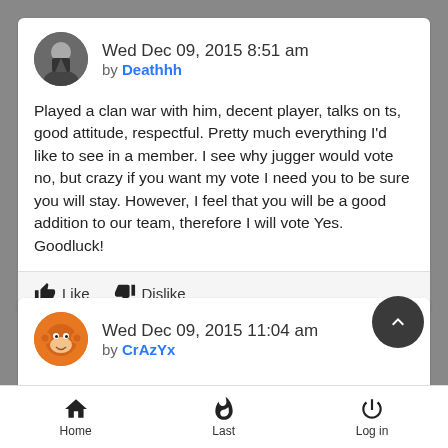Wed Dec 09, 2015 8:51 am by Deathhh
Played a clan war with him, decent player, talks on ts, good attitude, respectful. Pretty much everything I'd like to see in a member. I see why jugger would vote no, but crazy if you want my vote I need you to be sure you will stay. However, I feel that you will be a good addition to our team, therefore I will vote Yes. Goodluck!
Like  Dislike
Wed Dec 09, 2015 11:04 am by CrAzYx
Thank u Death  "I see why jugger would vote no, but crazy if you want my vote I need you to be sure you will stay."
Home  Last  Log in